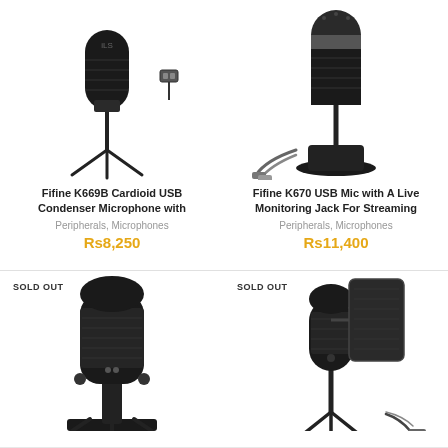[Figure (photo): Fifine K669B Cardioid USB Condenser Microphone on tripod stand with USB cable]
Fifine K669B Cardioid USB Condenser Microphone with
Peripherals, Microphones
Rs8,250
[Figure (photo): Fifine K670 USB Microphone on round base stand with USB-C cable]
Fifine K670 USB Mic with A Live Monitoring Jack For Streaming
Peripherals, Microphones
Rs11,400
[Figure (photo): Blue Yeti style USB condenser microphone on adjustable stand - SOLD OUT]
SOLD OUT
[Figure (photo): USB condenser microphone with pop filter shield on tripod stand with USB cable - SOLD OUT]
SOLD OUT